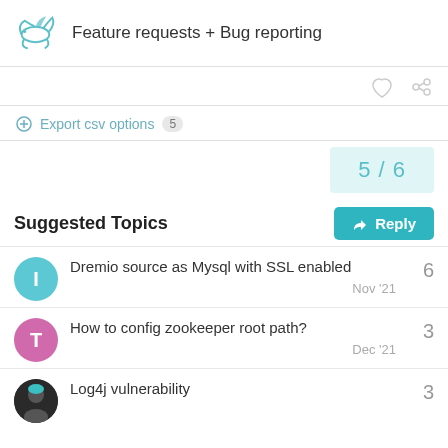Feature requests + Bug reporting
Export csv options 5
5 / 6
Suggested Topics
Reply
Dremio source as Mysql with SSL enabled — 6 — Nov '21
How to config zookeeper root path? — 3 — Dec '21
Log4j vulnerability — 3